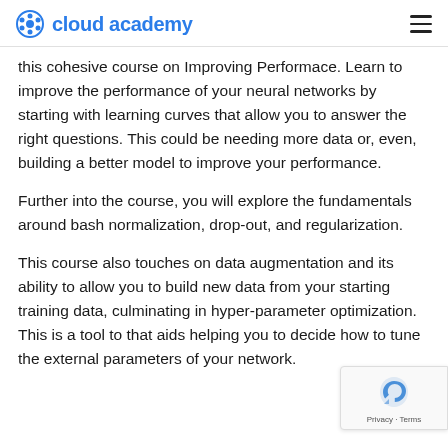cloud academy
this cohesive course on Improving Performace. Learn to improve the performance of your neural networks by starting with learning curves that allow you to answer the right questions. This could be needing more data or, even, building a better model to improve your performance.
Further into the course, you will explore the fundamentals around bash normalization, drop-out, and regularization.
This course also touches on data augmentation and its ability to allow you to build new data from your starting training data, culminating in hyper-parameter optimization. This is a tool to that aids helping you to decide how to tune the external parameters of your network.